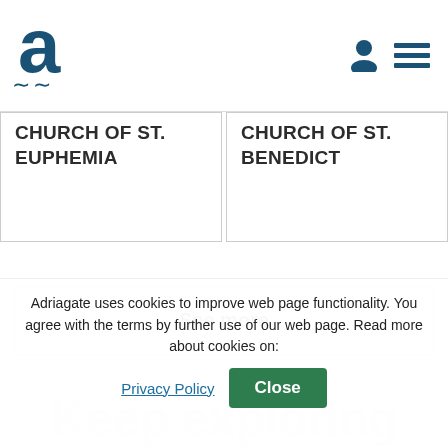Adriagate logo and navigation bar
CHURCH OF ST. EUPHEMIA
CHURCH OF ST. BENEDICT
See more
Adriagate uses cookies to improve web page functionality. You agree with the terms by further use of our web page. Read more about cookies on:
Privacy Policy
Close
Keep exploring